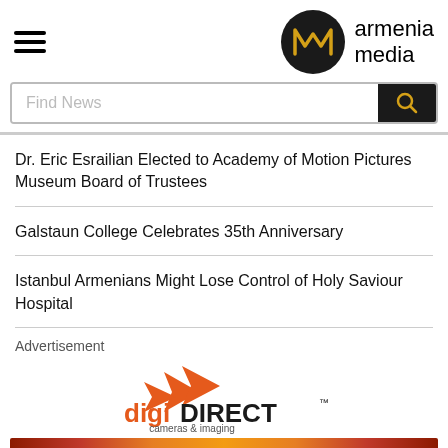[Figure (logo): Armenia Media logo with dark circle containing golden M monogram and text 'armenia media']
Find News
Dr. Eric Esrailian Elected to Academy of Motion Pictures Museum Board of Trustees
Galstaun College Celebrates 35th Anniversary
Istanbul Armenians Might Lose Control of Holy Saviour Hospital
Advertisement
[Figure (logo): digiDIRECT cameras & imaging logo with orange arrow icons]